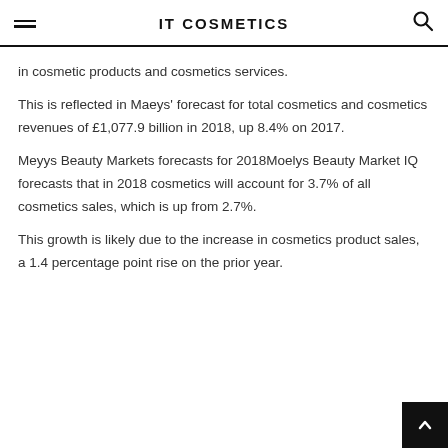IT COSMETICS
in cosmetic products and cosmetics services.
This is reflected in Maeys' forecast for total cosmetics and cosmetics revenues of £1,077.9 billion in 2018, up 8.4% on 2017.
Meyys Beauty Markets forecasts for 2018Moelys Beauty Market IQ forecasts that in 2018 cosmetics will account for 3.7% of all cosmetics sales, which is up from 2.7%.
This growth is likely due to the increase in cosmetics product sales, a 1.4 percentage point rise on the prior year.